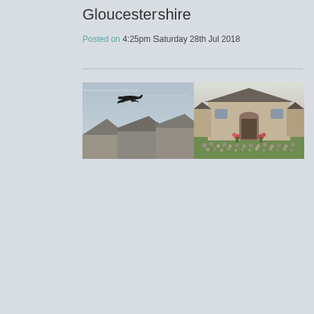Gloucestershire
Posted on 4:25pm Saturday 28th Jul 2018
[Figure (photo): Two side-by-side photographs: left shows a military aircraft flying over rooftops against a grey sky; right shows a stone barn building with a crowd of people gathered outside in a courtyard.]